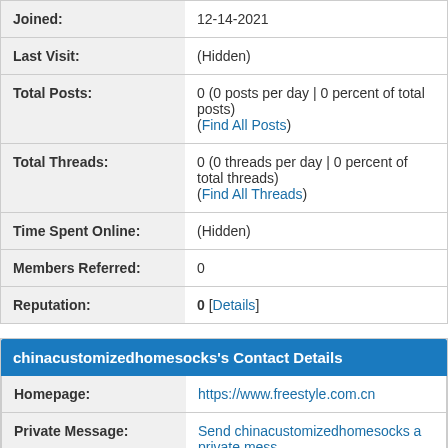| Joined: | 12-14-2021 |
| Last Visit: | (Hidden) |
| Total Posts: | 0 (0 posts per day | 0 percent of total posts)
(Find All Posts) |
| Total Threads: | 0 (0 threads per day | 0 percent of total threads)
(Find All Threads) |
| Time Spent Online: | (Hidden) |
| Members Referred: | 0 |
| Reputation: | 0 [Details] |
chinacustomizedhomesocks's Contact Details
| Homepage: | https://www.freestyle.com.cn |
| Private Message: | Send chinacustomizedhomesocks a private message |
Contact Us   My Site   Return to Top   Lite (Archive) Mode   Mark All Forums Re...
Powered By MyBB, © 2002-2022 MyBB Group.